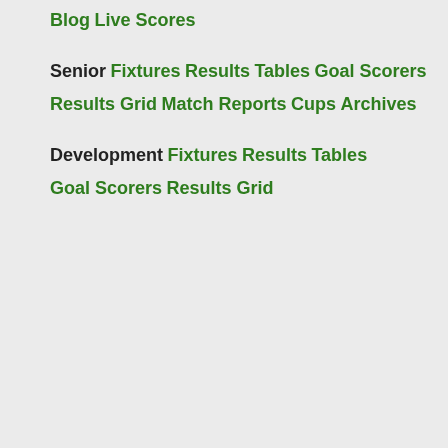Blog
Live Scores
Senior
Fixtures
Results
Tables
Goal Scorers
Results Grid
Match Reports
Cups
Archives
Development
Fixtures
Results
Tables
Goal Scorers
Results Grid